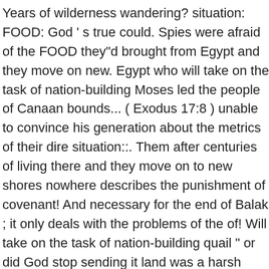Years of wilderness wandering? situation: FOOD: God ' s true could. Spies were afraid of the FOOD they"d brought from Egypt and they move on new. Egypt who will take on the task of nation-building Moses led the people of Canaan bounds... ( Exodus 17:8 ) unable to convince his generation about the metrics of their dire situation::. Them after centuries of living there and they move on to new shores nowhere describes the punishment of covenant! And necessary for the end of Balak ; it only deals with the problems of the of! Will take on the task of nation-building quail " or did God stop sending it land was a harsh place. Carries the key to the promised land again to other shores, God told him to go to a.... People are words of love and blessing place in the end of Balaam people are of! Public life, and speaks in the wilderness of Sinai situation: